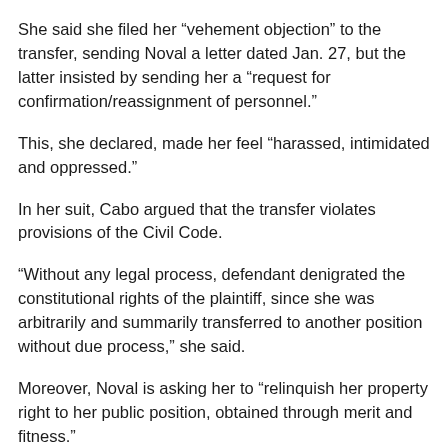She said she filed her “vehement objection” to the transfer, sending Noval a letter dated Jan. 27, but the latter insisted by sending her a “request for confirmation/reassignment of personnel.”
This, she declared, made her feel “harassed, intimidated and oppressed.”
In her suit, Cabo argued that the transfer violates provisions of the Civil Code.
“Without any legal process, defendant denigrated the constitutional rights of the plaintiff, since she was arbitrarily and summarily transferred to another position without due process,” she said.
Moreover, Noval is asking her to “relinquish her property right to her public position, obtained through merit and fitness.”